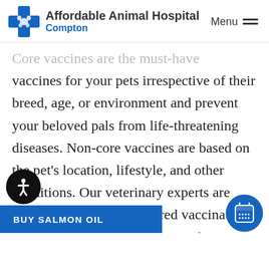Affordable Animal Hospital Compton | Menu
Core vaccines are the must-have vaccines for your pets irrespective of their breed, age, or environment and prevent your beloved pals from life-threatening diseases. Non-core vaccines are based on the pet's location, lifestyle, and other conditions. Our veterinary experts are available to design a tailored vaccination program and offer guidance on the specific vaccinations your pet needs.
BUY SALMON OIL